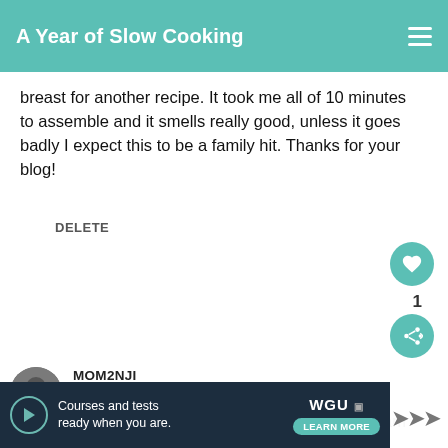A Year of Slow Cooking
breast for another recipe. It took me all of 10 minutes to assemble and it smells really good, unless it goes badly I expect this to be a family hit. Thanks for your blog!
DELETE
1
MOM2NJI
10/25/2008
Its in my crock pot right now, and I try it! I am lucky to have three boys t anything, but they are jumping at the chance to eat candy chicken!!
[Figure (infographic): WHAT'S NEXT panel with CrockPot Tortilla Soup thumbnail and text]
[Figure (infographic): Advertisement banner for WGU courses]